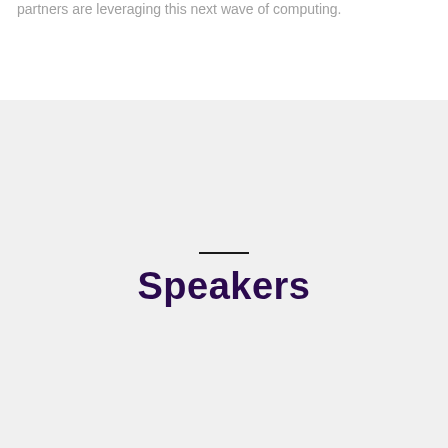partners are leveraging this next wave of computing.
Speakers